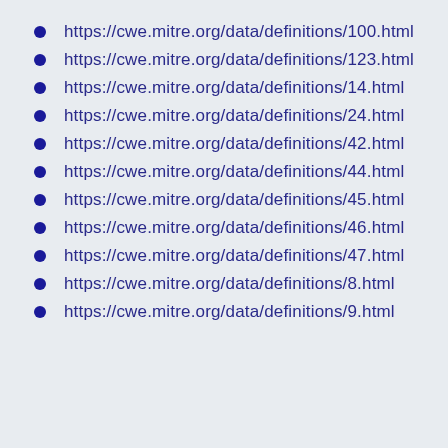https://cwe.mitre.org/data/definitions/100.html
https://cwe.mitre.org/data/definitions/123.html
https://cwe.mitre.org/data/definitions/14.html
https://cwe.mitre.org/data/definitions/24.html
https://cwe.mitre.org/data/definitions/42.html
https://cwe.mitre.org/data/definitions/44.html
https://cwe.mitre.org/data/definitions/45.html
https://cwe.mitre.org/data/definitions/46.html
https://cwe.mitre.org/data/definitions/47.html
https://cwe.mitre.org/data/definitions/8.html
https://cwe.mitre.org/data/definitions/9.html